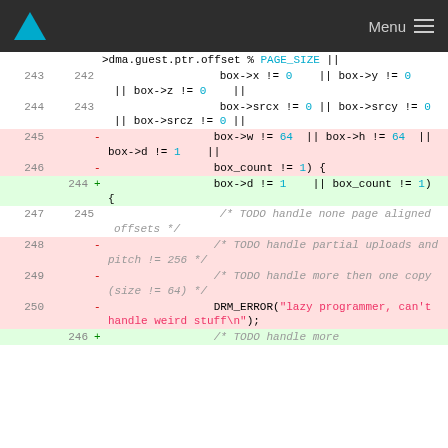Menu
[Figure (screenshot): Code diff view showing changes to a GPU/DMA related C source file. Lines 243-250 shown with removed (red) and added (green) lines related to box dimension and DRM_ERROR handling.]